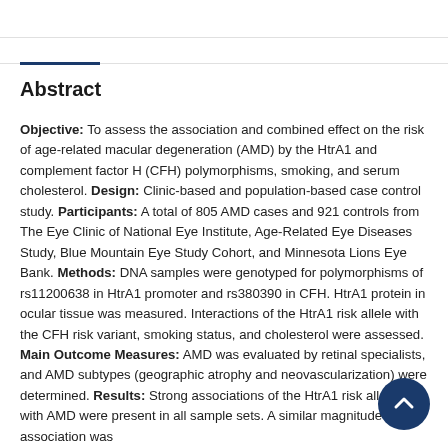Abstract
Objective: To assess the association and combined effect on the risk of age-related macular degeneration (AMD) by the HtrA1 and complement factor H (CFH) polymorphisms, smoking, and serum cholesterol. Design: Clinic-based and population-based case control study. Participants: A total of 805 AMD cases and 921 controls from The Eye Clinic of National Eye Institute, Age-Related Eye Diseases Study, Blue Mountain Eye Study Cohort, and Minnesota Lions Eye Bank. Methods: DNA samples were genotyped for polymorphisms of rs11200638 in HtrA1 promoter and rs380390 in CFH. HtrA1 protein in ocular tissue was measured. Interactions of the HtrA1 risk allele with the CFH risk variant, smoking status, and cholesterol were assessed. Main Outcome Measures: AMD was evaluated by retinal specialists, and AMD subtypes (geographic atrophy and neovascularization) were determined. Results: Strong associations of the HtrA1 risk allele (A) with AMD were present in all sample sets. A similar magnitude of association was